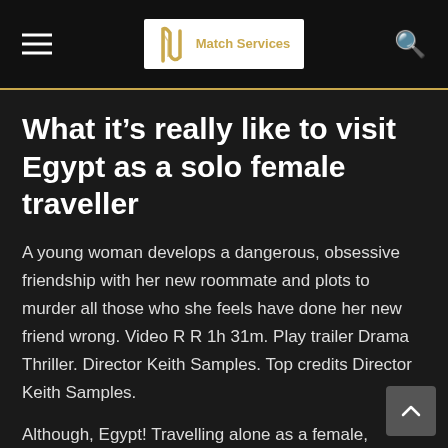Match Services
What it’s really like to visit Egypt as a solo female traveller
A young woman develops a dangerous, obsessive friendship with her new roommate and plots to murder all those who she feels have done her new friend wrong. Video R R 1h 31m. Play trailer Drama Thriller. Director Keith Samples. Top credits Director Keith Samples.
Although, Egypt! Travelling alone as a female, however, is an unfathomable concept en route for most Egyptians, so you can anticipate to receive more attention than a good number women will be used to big business with in their